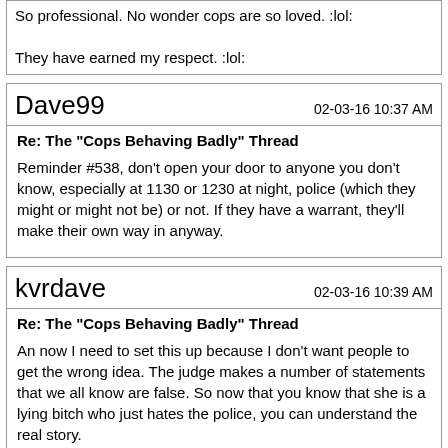So professional. No wonder cops are so loved. :lol:

They have earned my respect. :lol:
Dave99    02-03-16 10:37 AM
Re: The "Cops Behaving Badly" Thread
Reminder #538, don't open your door to anyone you don't know, especially at 1130 or 1230 at night, police (which they might or might not be) or not. If they have a warrant, they'll make their own way in anyway.
kvrdave    02-03-16 10:39 AM
Re: The "Cops Behaving Badly" Thread
An now I need to set this up because I don't want people to get the wrong idea. The judge makes a number of statements that we all know are false. So now that you know that she is a lying bitch who just hates the police, you can understand the real story.
http://www.mlive.com/news/detroit/in..._years_in.html
Quote:
Officer nicknamed 'robocop' gets 13 months for beating motorist